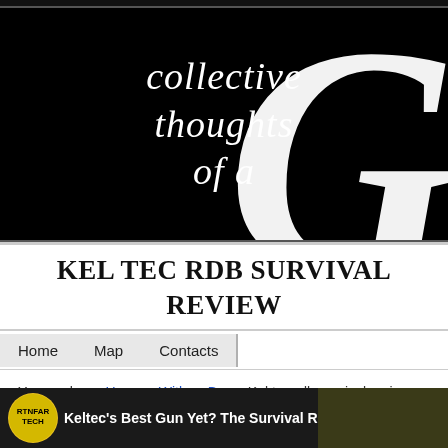[Figure (logo): Blog header banner with script text 'collective thoughts of a' and large decorative G letter on black background]
KEL TEC RDB SURVIVAL REVIEW
Home  Map  Contacts
You are here: Home > Witless Bay > Kel tec rdb survival review
[Figure (screenshot): Video thumbnail showing 'Keltec's Best Gun Yet? The Survival RDB!' with YouTube channel icon]